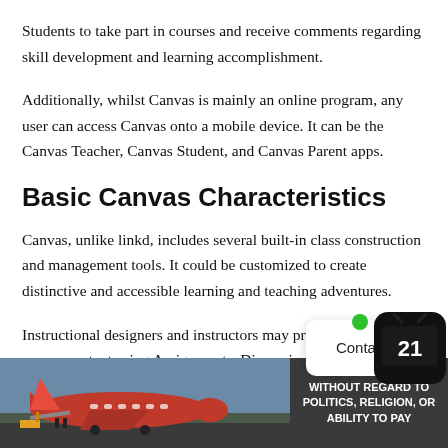Students to take part in courses and receive comments regarding skill development and learning accomplishment.
Additionally, whilst Canvas is mainly an online program, any user can access Canvas onto a mobile device. It can be the Canvas Teacher, Canvas Student, and Canvas Parent apps.
Basic Canvas Characteristics
Canvas, unlike linkd, includes several built-in class construction and management tools. It could be customized to create distinctive and accessible learning and teaching adventures.
Instructional designers and instructors may produce and share course content using Assignments, Discussions…
[Figure (photo): Advertisement banner showing an airplane being loaded with cargo, with text 'WITHOUT REGARD TO POLITICS, RELIGION, OR ABILITY TO PAY']
[Figure (other): Contact Us widget — white rounded rectangle with shadow, showing 'Contact Us' text]
[Figure (other): Channel 21 TV icon with green dot — black rounded square with TV antenna and number 21]